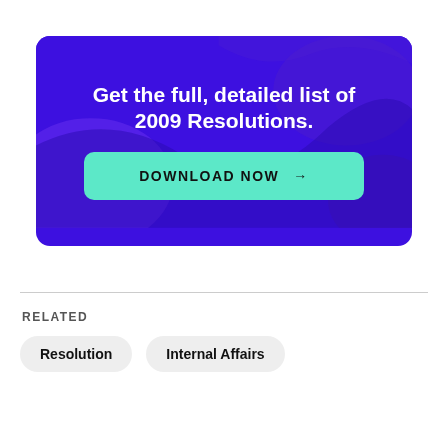[Figure (infographic): Purple banner with decorative dark background imagery and white bold text reading 'Get the full, detailed list of 2009 Resolutions.' with a teal 'DOWNLOAD NOW →' button]
RELATED
Resolution
Internal Affairs